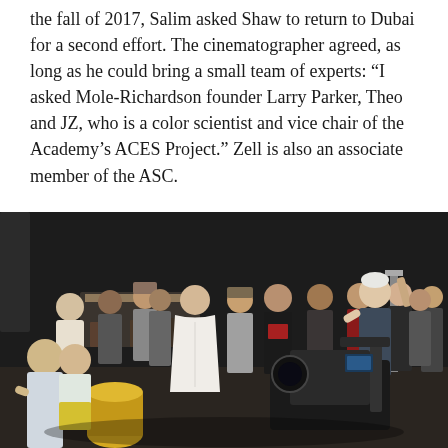the fall of 2017, Salim asked Shaw to return to Dubai for a second effort. The cinematographer agreed, as long as he could bring a small team of experts: “I asked Mole-Richardson founder Larry Parker, Theo and JZ, who is a color scientist and vice chair of the Academy’s ACES Project.” Zell is also an associate member of the ASC.
[Figure (photo): A group of approximately 20 people gathered on a film/studio set. A man in a white traditional robe (thobe) stands in the center-left. On the right, an older man with white hair appears to be speaking or giving instruction to the group. Camera equipment including a professional film camera on a rig is visible in the foreground. The setting appears to be a dark studio or stage.]